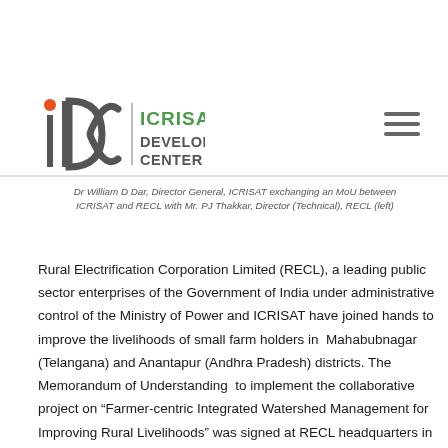[Figure (logo): IDC ICRISAT Development Center logo with stylized letter I and D with orange dot, gray and green text]
Dr William D Dar, Director General, ICRISAT exchanging an MoU between ICRISAT and RECL with Mr. PJ Thakkar, Director (Technical), RECL (left)
Rural Electrification Corporation Limited (RECL), a leading public sector enterprises of the Government of India under administrative control of the Ministry of Power and ICRISAT have joined hands to improve the livelihoods of small farm holders in Mahabubnagar (Telangana) and Anantapur (Andhra Pradesh) districts. The Memorandum of Understanding to implement the collaborative project on “Farmer-centric Integrated Watershed Management for Improving Rural Livelihoods” was signed at RECL headquarters in New Delhi on 29 May 2014. Mr. PJ Thakkar, Director (Technical), RECL and Dr William D Dar